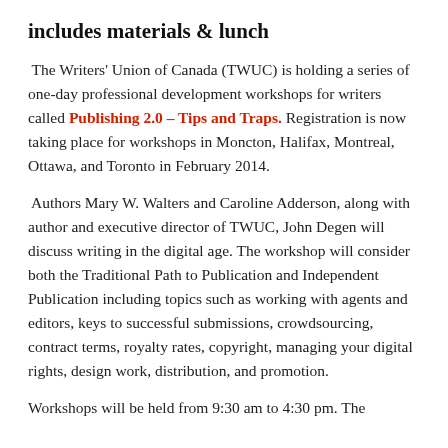includes materials & lunch
The Writers' Union of Canada (TWUC) is holding a series of one-day professional development workshops for writers called Publishing 2.0 – Tips and Traps. Registration is now taking place for workshops in Moncton, Halifax, Montreal, Ottawa, and Toronto in February 2014.
Authors Mary W. Walters and Caroline Adderson, along with author and executive director of TWUC, John Degen will discuss writing in the digital age. The workshop will consider both the Traditional Path to Publication and Independent Publication including topics such as working with agents and editors, keys to successful submissions, crowdsourcing, contract terms, royalty rates, copyright, managing your digital rights, design work, distribution, and promotion.
Workshops will be held from 9:30 am to 4:30 pm. The...